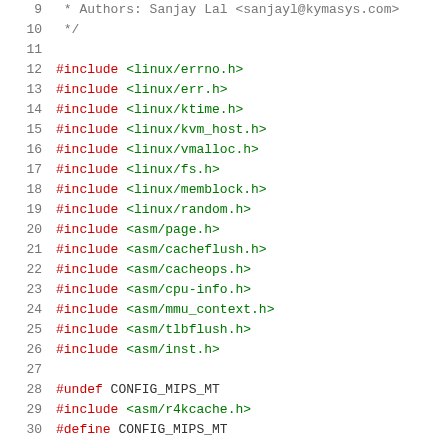Source code listing, lines 9-30, showing #include directives and preprocessor definitions in C
9:  * Authors: Sanjay Lal <sanjayl@kymasys.com>
10:  */
11: (blank)
12: #include <linux/errno.h>
13: #include <linux/err.h>
14: #include <linux/ktime.h>
15: #include <linux/kvm_host.h>
16: #include <linux/vmalloc.h>
17: #include <linux/fs.h>
18: #include <linux/memblock.h>
19: #include <linux/random.h>
20: #include <asm/page.h>
21: #include <asm/cacheflush.h>
22: #include <asm/cacheops.h>
23: #include <asm/cpu-info.h>
24: #include <asm/mmu_context.h>
25: #include <asm/tlbflush.h>
26: #include <asm/inst.h>
27: (blank)
28: #undef CONFIG_MIPS_MT
29: #include <asm/r4kcache.h>
30: #define CONFIG_MIPS_MT